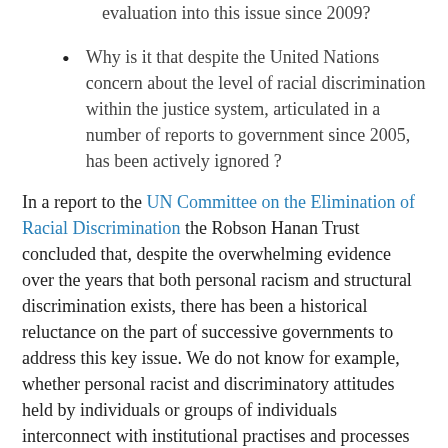evaluation into this issue since 2009?
Why is it that despite the United Nations concern about the level of racial discrimination within the justice system, articulated in a number of reports to government since 2005, has been actively ignored ?
In a report to the UN Committee on the Elimination of Racial Discrimination the Robson Hanan Trust concluded that, despite the overwhelming evidence over the years that both personal racism and structural discrimination exists, there has been a historical reluctance on the part of successive governments to address this key issue. We do not know for example, whether personal racist and discriminatory attitudes held by individuals or groups of individuals interconnect with institutional practises and processes which result in